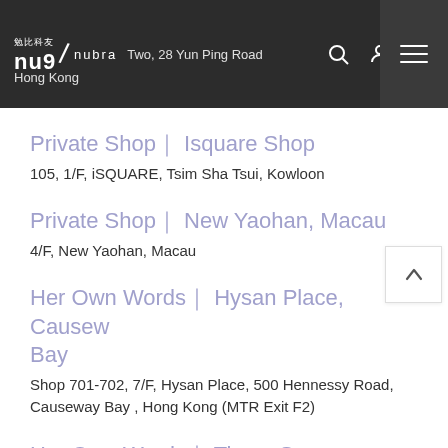nu9 / nubra  Two, 28 Yun Ping Road  Hong Kong
Private Shop｜ Isquare Shop
105, 1/F, iSQUARE, Tsim Sha Tsui, Kowloon
Private Shop｜ New Yaohan, Macau
4/F, New Yaohan, Macau
Her Own Words｜ Hysan Place, Causeway Bay
Shop 701-702, 7/F, Hysan Place, 500 Hennessy Road, Causeway Bay , Hong Kong (MTR Exit F2)
Her Own Words｜ Times Square, Causeway